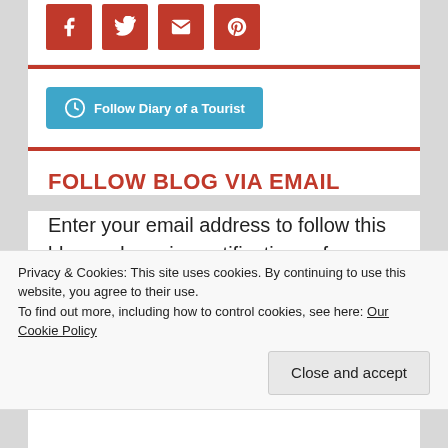[Figure (other): Social media share buttons (Facebook, Twitter, Email, Pinterest) as red square icons]
[Figure (other): WordPress Follow button: 'Follow Diary of a Tourist' in teal/blue]
FOLLOW BLOG VIA EMAIL
Enter your email address to follow this blog and receive notifications of new posts by email.
Privacy & Cookies: This site uses cookies. By continuing to use this website, you agree to their use. To find out more, including how to control cookies, see here: Our Cookie Policy
Close and accept